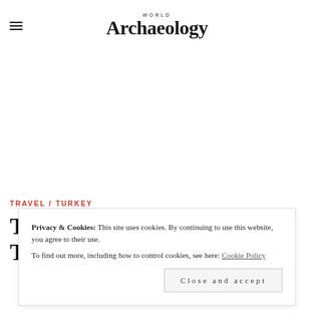WORLD ARCHAEOLOGY
TRAVEL / TURKEY
Travel: Explore Neolithic Türkiye
Privacy & Cookies: This site uses cookies. By continuing to use this website, you agree to their use.
To find out more, including how to control cookies, see here: Cookie Policy
Close and accept